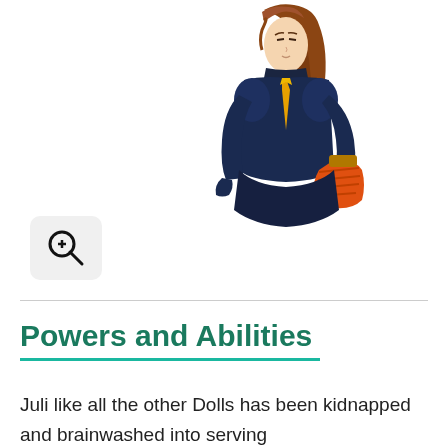[Figure (illustration): Anime-style illustration of Juli, a female character in a dark navy bodysuit with a yellow tie and orange gauntlet/weapon, with brown hair. A zoom magnifier icon is visible in the lower-left of the image area.]
Powers and Abilities
Juli like all the other Dolls has been kidnapped and brainwashed into serving